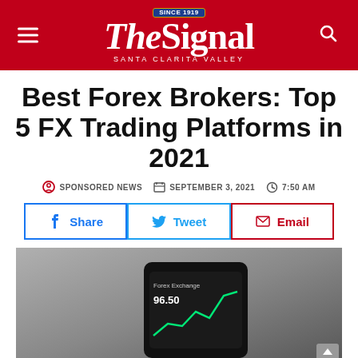The Signal — Santa Clarita Valley
Best Forex Brokers: Top 5 FX Trading Platforms in 2021
SPONSORED NEWS   SEPTEMBER 3, 2021   7:50 AM
Share   Tweet   Email
[Figure (photo): Smartphone displaying a trading app with a green upward line chart and figure 96.50, on a dark background]